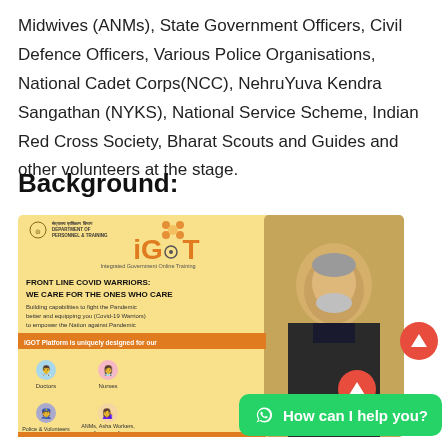Midwives (ANMs), State Government Officers, Civil Defence Officers, Various Police Organisations, National Cadet Corps(NCC), NehruYuva Kendra Sangathan (NYKS), National Service Scheme, Indian Red Cross Society, Bharat Scouts and Guides and other volunteers at the stage.
Background:
[Figure (infographic): iGOT (Integrated Government Online Training) banner showing 'FRONT LINE COVID WARRIORS: WE CARE FOR THE ONES WHO CARE' with icons for Doctors, Nurses, Police & Volunteers, ANMs, Asha Workers, Anganwadis. Background features Prime Minister Modi's photo.]